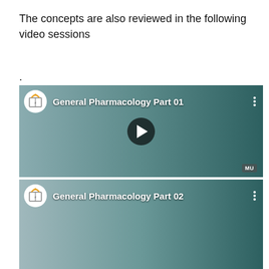The concepts are also reviewed in the following video sessions
.
[Figure (screenshot): Video thumbnail for 'General Pharmacology Part 01' — shows a professor in a dark suit gesturing with a MacBook laptop on desk, teal/green background, play button overlay, channel logo (book with wifi icon)]
[Figure (screenshot): Video thumbnail for 'General Pharmacology Part 02' — shows same professor, partially visible, teal background, channel logo (book with wifi icon)]